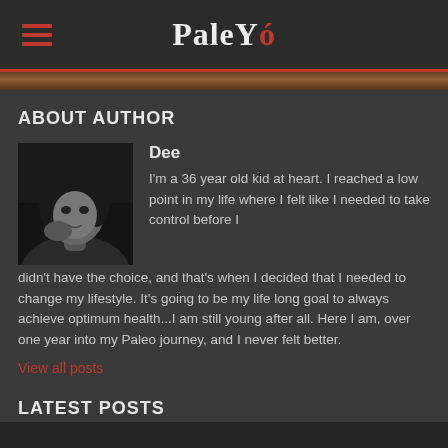PaleYó
ABOUT AUTHOR
[Figure (photo): Black and white portrait photo of author Dee]
Dee
I'm a 36 year old kid at heart. I reached a low point in my life where I felt like I needed to take control before I didn't have the choice, and that's when I decided that I needed to change my lifestyle. It's going to be my life long goal to always achieve optimum health...I am still young after all. Here I am, over one year into my Paleo journey, and I never felt better.
View all posts
LATEST POSTS